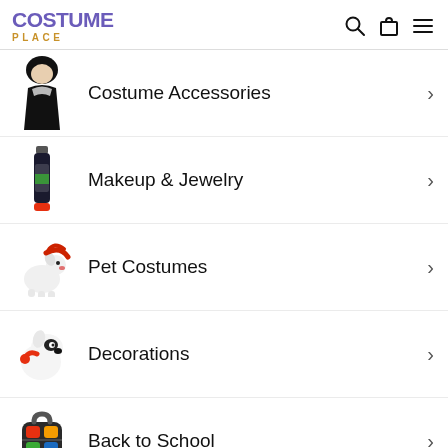COSTUME PLACE
Costume Accessories
Makeup & Jewelry
Pet Costumes
Decorations
Back to School
Main Menu
General Menu
Search
Contact Us
Size Charts
Licensing & Copyright